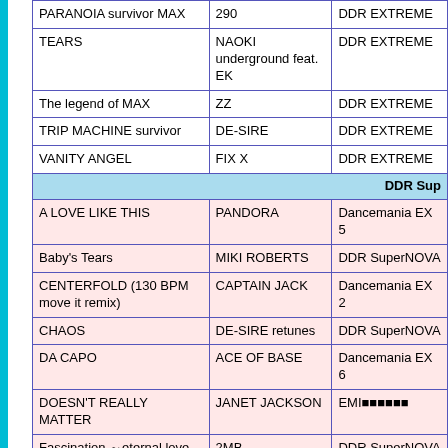| Song | Artist | Game |
| --- | --- | --- |
| PARANOIA survivor MAX | 290 | DDR EXTREME |
| TEARS | NAOKI underground feat. EK | DDR EXTREME |
| The legend of MAX | ZZ | DDR EXTREME |
| TRIP MACHINE survivor | DE-SIRE | DDR EXTREME |
| VANITY ANGEL | FIX X | DDR EXTREME |
| [DDR SuperNOVA section header] |  |  |
| A LOVE LIKE THIS | PANDORA | Dancemania EX 5 |
| Baby's Tears | MIKI ROBERTS | DDR SuperNOVA |
| CENTERFOLD (130 BPM move it remix) | CAPTAIN JACK | Dancemania EX 2 |
| CHAOS | DE-SIRE retunes | DDR SuperNOVA |
| DA CAPO | ACE OF BASE | Dancemania EX 6 |
| DOESN'T REALLY MATTER | JANET JACKSON | EMI?????? |
| Fascination ~eternal love mix~ | 2MB | DDR SuperNOVA |
| Fascination MAXX | 100-200-400 | DDR SuperNOVA |
| FEELS JUST LIKE IT | LH MUSIC |  |